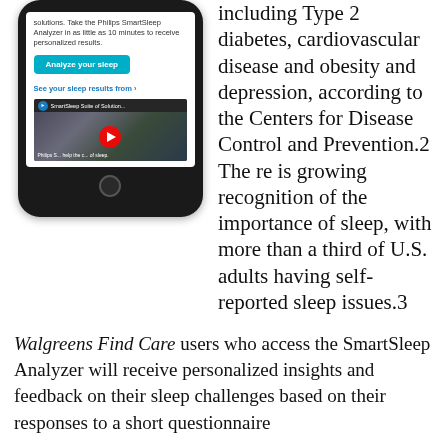[Figure (photo): Smartphone screenshot showing the Philips SmartSleep Analyzer app interface with an 'Analyze your sleep' button and a YouTube video thumbnail for 'SmartSleep Suite of Solutions']
including Type 2 diabetes, cardiovascular disease and obesity and depression, according to the Centers for Disease Control and Prevention.2 There is growing recognition of the importance of sleep, with more than a third of U.S. adults having self-reported sleep issues.3
Walgreens Find Care users who access the SmartSleep Analyzer will receive personalized insights and feedback on their sleep challenges based on their responses to a short questionnaire